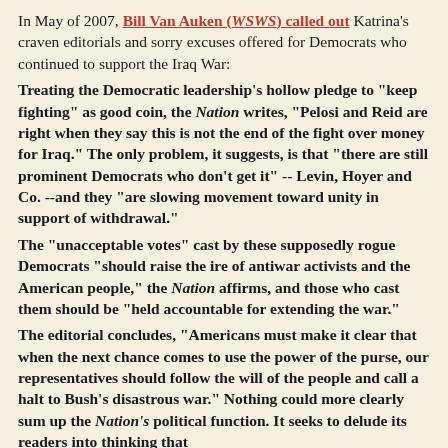In May of 2007, Bill Van Auken (WSWS) called out Katrina's craven editorials and sorry excuses offered for Democrats who continued to support the Iraq War:
Treating the Democratic leadership's hollow pledge to "keep fighting" as good coin, the Nation writes, "Pelosi and Reid are right when they say this is not the end of the fight over money for Iraq." The only problem, it suggests, is that "there are still prominent Democrats who don't get it" -- Levin, Hoyer and Co. --and they "are slowing movement toward unity in support of withdrawal."
The "unacceptable votes" cast by these supposedly rogue Democrats "should raise the ire of antiwar activists and the American people," the Nation affirms, and those who cast them should be "held accountable for extending the war."
The editorial concludes, "Americans must make it clear that when the next chance comes to use the power of the purse, our representatives should follow the will of the people and call a halt to Bush's disastrous war." Nothing could more clearly sum up the Nation's political function. It seeks to delude its readers into thinking that